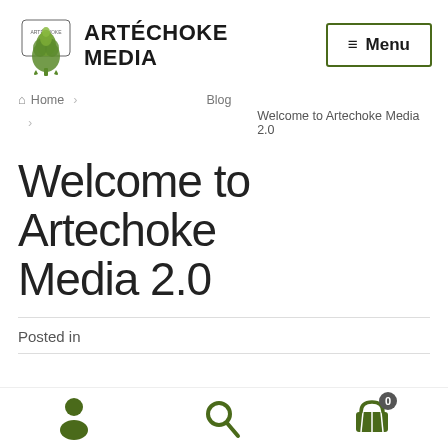[Figure (logo): Artechoke Media logo with artichoke graphic and bold text 'ARTÉCHOKE MEDIA']
≡ Menu
Home > Blog > Welcome to Artechoke Media 2.0
Welcome to Artechoke Media 2.0
Posted in
[Figure (infographic): Bottom navigation bar with user icon, search icon, and cart icon with badge showing 0]